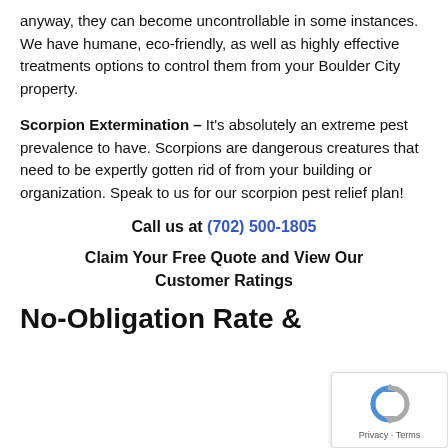anyway, they can become uncontrollable in some instances. We have humane, eco-friendly, as well as highly effective treatments options to control them from your Boulder City property.
Scorpion Extermination – It's absolutely an extreme pest prevalence to have. Scorpions are dangerous creatures that need to be expertly gotten rid of from your building or organization. Speak to us for our scorpion pest relief plan!
Call us at (702) 500-1805
Claim Your Free Quote and View Our Customer Ratings
No-Obligation Rate & Inspection